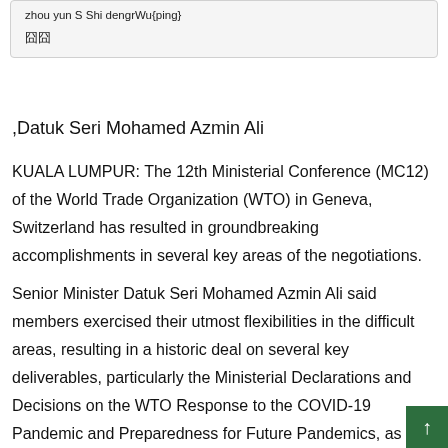zhou yun S Shi deng r Wu {ping}  囧囧
,Datuk Seri Mohamed Azmin Ali
KUALA LUMPUR: The 12th Ministerial Conference (MC12) of the World Trade Organization (WTO) in Geneva, Switzerland has resulted in groundbreaking accomplishments in several key areas of the negotiations.
Senior Minister Datuk Seri Mohamed Azmin Ali said members exercised their utmost flexibilities in the difficult areas, resulting in a historic deal on several key deliverables, particularly the Ministerial Declarations and Decisions on the WTO Response to the COVID-19 Pandemic and Preparedness for Future Pandemics, as well as the Emergency Response to Food Insecurity.